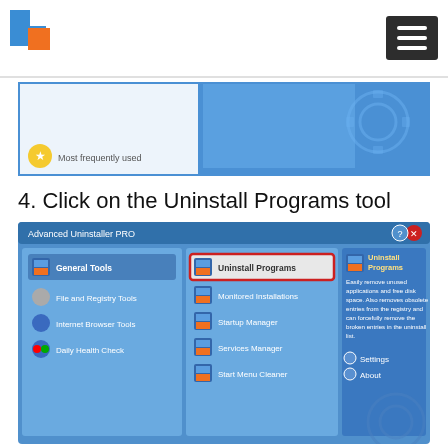[Figure (logo): Blue and orange square logo with letter C shape]
[Figure (screenshot): Partial screenshot of Advanced Uninstaller PRO showing Most frequently used section with blue UI and gear icon]
4. Click on the Uninstall Programs tool
[Figure (screenshot): Screenshot of Advanced Uninstaller PRO application showing General Tools, File and Registry Tools, Internet Browser Tools, Daily Health Check in left panel; Uninstall Programs (highlighted with red border), Monitored Installations, Startup Manager, Services Manager, Start Menu Cleaner in middle panel; Uninstall Programs description and Settings/About links in right panel]